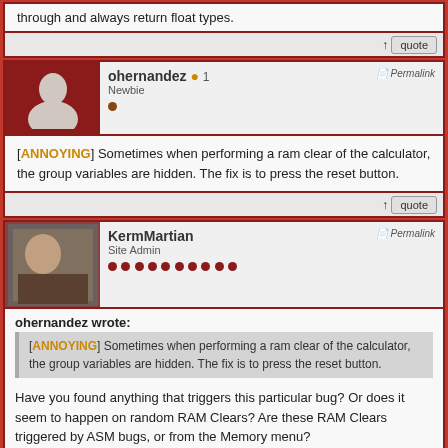through and always return float types.
↑ quote
ohernandez 1
Newbie
Permalink
[ANNOYING] Sometimes when performing a ram clear of the calculator, the group variables are hidden. The fix is to press the reset button.
↑ quote
KermMartian
Site Admin
Permalink
ohernandez wrote:
[ANNOYING] Sometimes when performing a ram clear of the calculator, the group variables are hidden. The fix is to press the reset button.
Have you found anything that triggers this particular bug? Or does it seem to happen on random RAM Clears? Are these RAM Clears triggered by ASM bugs, or from the Memory menu?
[Figure (screenshot): js77fied - ONLINE TI-83+/TI-84+ GRAPHING CALCULATOR banner]
[Figure (screenshot): DCS7 - DOORS CS 7 USER banner]
↑ quote
ohernandez 1
Newbie
Permalink